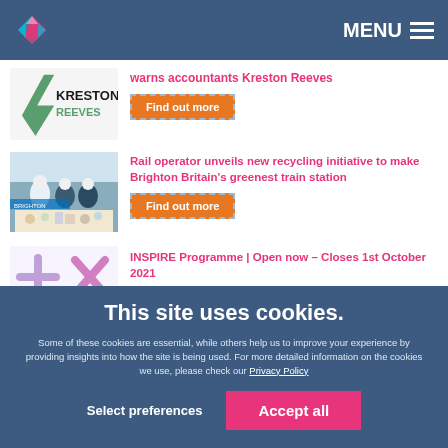[Figure (logo): Diamond/rhombus logo with pink and teal colors, Kreston Reeves brand]
MENU
[Figure (photo): Kreston Reeves logo - partial view]
warns accountants Kreston Reeves
Find out more
[Figure (photo): People at a recycling station at a train station]
Rail operator unveils new recycling initiative to make Brighton Britain's greenest train station
Find out more
[Figure (illustration): INSPIRE programme logo with plus and X symbols in pink/lavender]
INSPIRE Programme | Open now – Closes 1st October 2021
This site uses cookies.
Some of these cookies are essential, while others help us to improve your experience by providing insights into how the site is being used. For more detailed information on the cookies we use, please check our Privacy Policy
Select preferences
Accept all